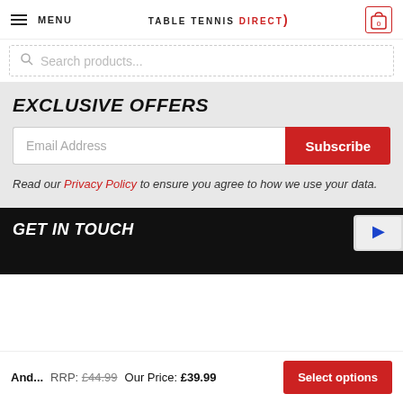MENU  TABLE TENNIS DIRECT  0
Search products...
EXCLUSIVE OFFERS
Email Address
Subscribe
Read our Privacy Policy to ensure you agree to how we use your data.
GET IN TOUCH
And...  RRP: £44.99  Our Price: £39.99  Select options